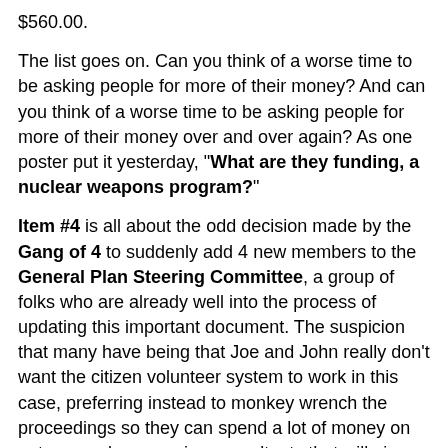$560.00.
The list goes on. Can you think of a worse time to be asking people for more of their money? And can you think of a worse time to be asking people for more of their money over and over again? As one poster put it yesterday, "What are they funding, a nuclear weapons program?"
Item #4 is all about the odd decision made by the Gang of 4 to suddenly add 4 new members to the General Plan Steering Committee, a group of folks who are already well into the process of updating this important document. The suspicion that many have being that Joe and John really don't want the citizen volunteer system to work in this case, preferring instead to monkey wrench the proceedings so they can spend a lot of money on outrageously expensive consultants that will give them the kind of General Plan they really want. One that would make large scale development here in the future far easier to initiate and carry out. The wishes of Sierra Madre be damned.
There is some irony here, however. Apparently 18 people